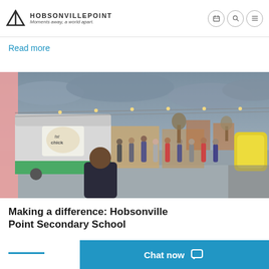HobsonvillePoint — Moments away, a world apart.
sculpture on Waimā-Waitematā that meaning for Māori is the return of property that means 'walking backwards into the future'
Read more
[Figure (photo): Outdoor evening food truck market event at Hobsonville Point. A crowd of people mill around food trucks with string lights overhead. In the foreground is a vintage-style trailer with 'Fat Chick' branding. People are seated at tables eating on the right, and a yellow inflatable slide is visible in the far right background.]
Making a difference: Hobsonville Point Secondary School
Chat now